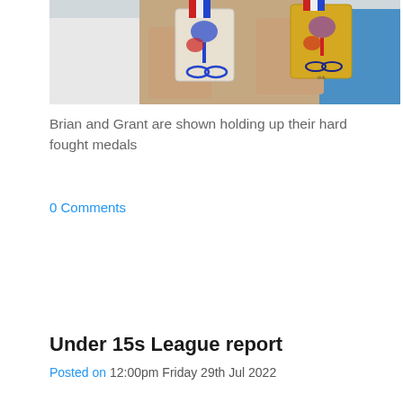[Figure (photo): Photo of two people holding up medals with red, white and blue ribbons and lanyards, showing competition medals]
Brian and Grant are shown holding up their hard fought medals
0 Comments
Under 15s League report
Posted on 12:00pm Friday 29th Jul 2022